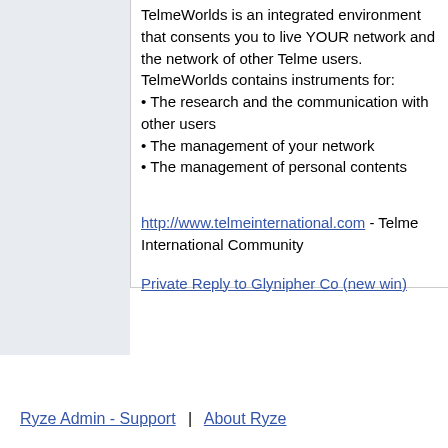TelmeWorlds is an integrated environment that consents you to live YOUR network and the network of other Telme users.

TelmeWorlds contains instruments for:
• The research and the communication with other users
• The management of your network
• The management of personal contents
http://www.telmeinternational.com - Telme International Community
Private Reply to Glynipher Co (new win)
Ryze Admin - Support  |  About Ryze